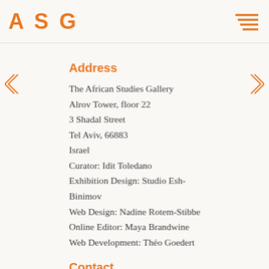ASG
Address
The African Studies Gallery
Alrov Tower, floor 22
3 Shadal Street
Tel Aviv, 66883
Israel
Curator: Idit Toledano
Exhibition Design: Studio Esh-Binimov
Web Design: Nadine Rotem-Stibbe
Online Editor: Maya Brandwine
Web Development: Théo Goedert
Contact